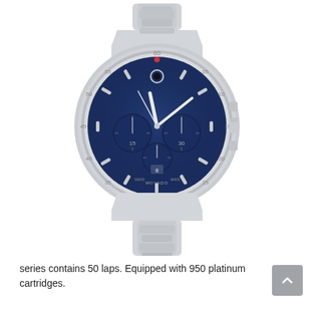[Figure (photo): A Movado chronograph watch with a blue dial and silver stainless steel bracelet. The watch features three sub-dials, a single dot marker at 12 o'clock, and luminous baton hour markers. The crown and pushers are visible on the right side.]
series contains 50 laps. Equipped with 950 platinum cartridges.